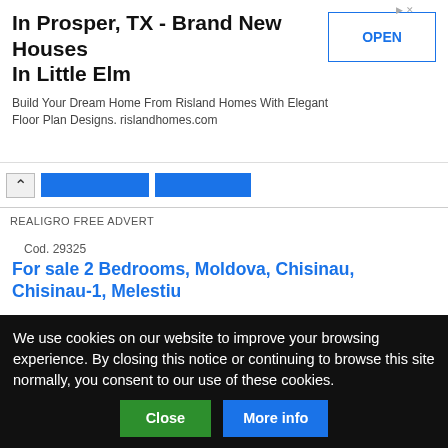[Figure (other): Advertisement banner: In Prosper, TX - Brand New Houses In Little Elm. Build Your Dream Home From Risland Homes With Elegant Floor Plan Designs. rislandhomes.com. With OPEN button.]
REALIGRO FREE ADVERT
Cod. 29325
For sale 2 Bedrooms, Moldova, Chisinau, Chisinau-1, Melestiu
[Figure (photo): Interior photo of an empty room with large windows and light blue-grey walls.]
56,302.40USD
For sale
2 Bedrooms
93 m²
We use cookies on our website to improve your browsing experience. By closing this notice or continuing to browse this site normally, you consent to our use of these cookies.